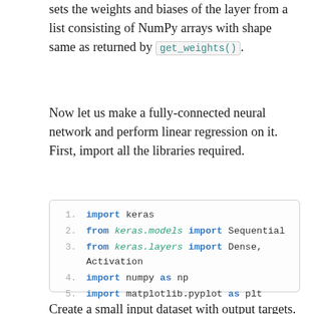sets the weights and biases of the layer from a list consisting of NumPy arrays with shape same as returned by get_weights().
Now let us make a fully-connected neural network and perform linear regression on it. First, import all the libraries required.
import keras
from keras.models import Sequential
from keras.layers import Dense, Activation
import numpy as np
import matplotlib.pyplot as plt
Create a small input dataset with output targets.
x = np.random.randn(100)
y = x*3 + np.random.randn(100)*0.8